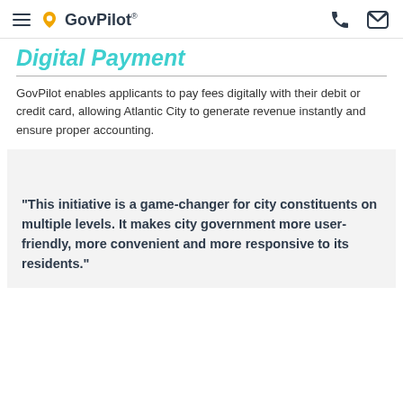GovPilot®
Digital Payment
GovPilot enables applicants to pay fees digitally with their debit or credit card, allowing Atlantic City to generate revenue instantly and ensure proper accounting.
“This initiative is a game-changer for city constituents on multiple levels. It makes city government more user-friendly, more convenient and more responsive to its residents.”